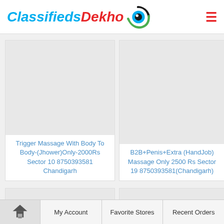ClassifiedsDekho
[Figure (screenshot): Classifieds listing card: Trigger Massage With Body To Body-(Jhower)Only-2000Rs Sector 10 8750393581 Chandigarh]
[Figure (screenshot): Classifieds listing card: B2B+Penis+Extra (HandJob) Massage Only 2500 Rs Sector 19 8750393581(Chandigarh)]
My Account  Favorite Stores  Recent Orders